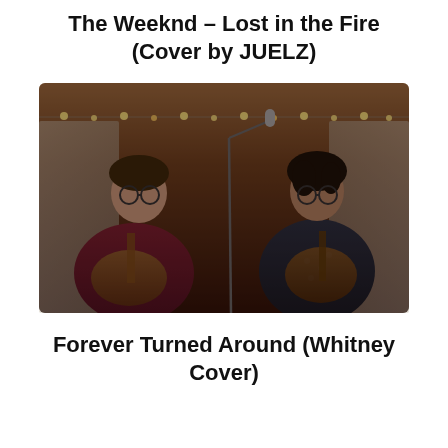The Weeknd – Lost in the Fire (Cover by JUELZ)
[Figure (photo): Two musicians sitting and playing acoustic guitars in a warmly lit indoor setting with string lights and a microphone stand between them. The person on the left wears glasses and a dark shirt; the person on the right wears a patterned shirt and glasses.]
Forever Turned Around (Whitney Cover)